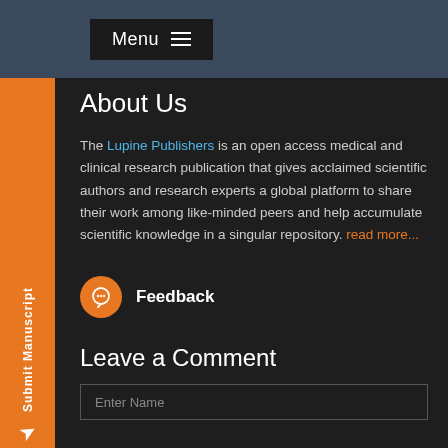Menu
About Us
The Lupine Publishers is an open access medical and clinical research publication that gives acclaimed scientific authors and research experts a global platform to share their work among like-minded peers and help accumulate scientific knowledge in a singular repository. read more...
Feedback
Leave a Comment
Enter Name